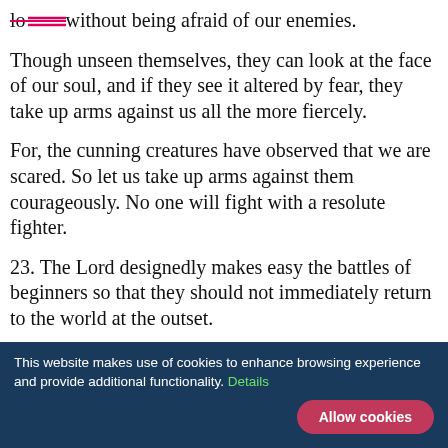love without being afraid of our enemies.
Though unseen themselves, they can look at the face of our soul, and if they see it altered by fear, they take up arms against us all the more fiercely.
For, the cunning creatures have observed that we are scared. So let us take up arms against them courageously. No one will fight with a resolute fighter.
23. The Lord designedly makes easy the battles of beginners so that they should not immediately return to the world at the outset.
And so rejoice in the Lord always, all servants of His, detecting in this the first sign of the Master's love for
This website makes use of cookies to enhance browsing experience and provide additional functionality. Details Allow cookies